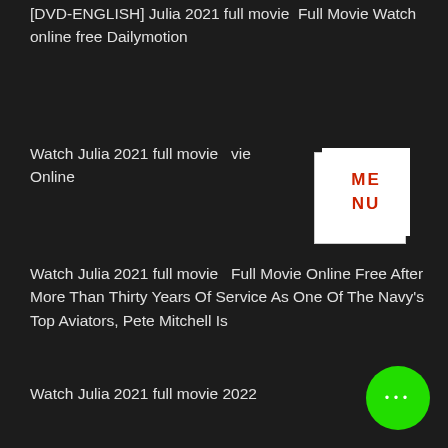[DVD-ENGLISH] Julia 2021 full movie  Full Movie Watch online free Dailymotion
Watch Julia 2021 full movie  vie Online
[Figure (other): White box with red text reading ME NU (MENU), a menu button overlay]
Watch Julia 2021 full movie   Full Movie Online Free After More Than Thirty Years Of Service As One Of The Navy's Top Aviators, Pete Mitchell Is
Watch Julia 2021 full movie 2022
May 30, 2022 — Watch Julia 2021 full movie 2022 HDmovies300 MB Movies Online Free Julia 2021 full movie 2022 Download with Different Print Quality HD 720
Rating 7.5/10 · 685,757 votes
[Figure (other): Green circle button with three white dots (ellipsis/more options button)]